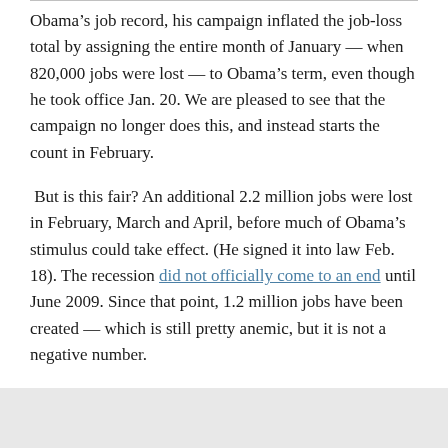Obama's job record, his campaign inflated the job-loss total by assigning the entire month of January — when 820,000 jobs were lost — to Obama's term, even though he took office Jan. 20. We are pleased to see that the campaign no longer does this, and instead starts the count in February.
But is this fair? An additional 2.2 million jobs were lost in February, March and April, before much of Obama's stimulus could take effect. (He signed it into law Feb. 18). The recession did not officially come to an end until June 2009. Since that point, 1.2 million jobs have been created — which is still pretty anemic, but it is not a negative number.